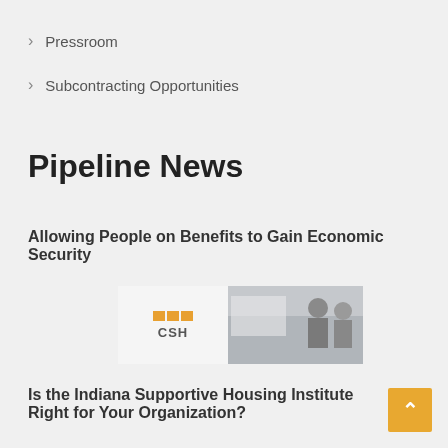> Pressroom
> Subcontracting Opportunities
Pipeline News
Allowing People on Benefits to Gain Economic Security
[Figure (logo): CSH logo with orange squares and photo of people]
Is the Indiana Supportive Housing Institute Right for Your Organization?